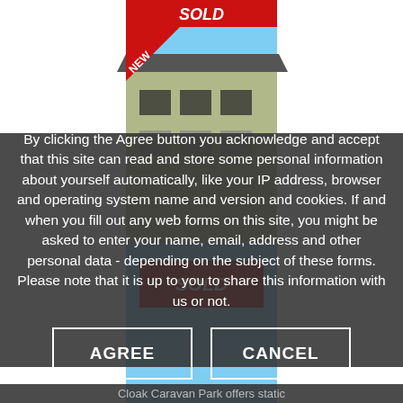[Figure (photo): Background photo of a static caravan/holiday home with a red SOLD banner and a NEW corner label, set against a blue sky, partially visible behind overlay.]
By clicking the Agree button you acknowledge and accept that this site can read and store some personal information about yourself automatically, like your IP address, browser and operating system name and version and cookies. If and when you fill out any web forms on this site, you might be asked to enter your name, email, address and other personal data - depending on the subject of these forms. Please note that it is up to you to share this information with us or not.
AGREE
CANCEL
Cloak Caravan Park offers static